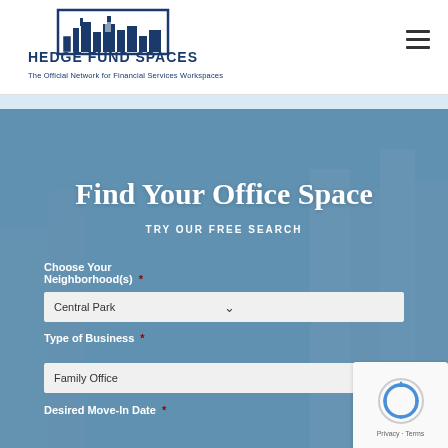[Figure (logo): Hedge Fund Spaces logo: blue building skyline icon above the text HEDGE FUND SPACES, with tagline 'The Official Network for Financial Services Workspaces']
Find Your Office Space
TRY OUR FREE SEARCH
Choose Your Neighborhood(s) *
Central Park
Type of Business *
Family Office
Desired Move-In Date *